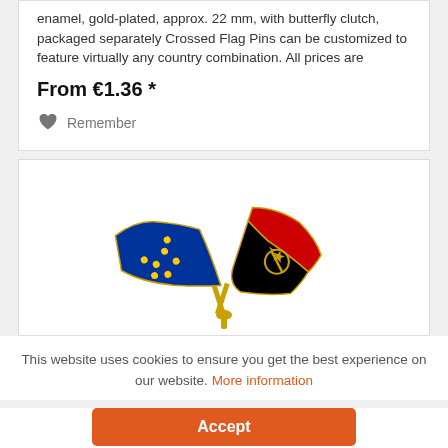enamel, gold-plated, approx. 22 mm, with butterfly clutch, packaged separately Crossed Flag Pins can be customized to feature virtually any country combination. All prices are
From €1.36 *
Remember
[Figure (photo): A crossed flag pin featuring the European Union flag (blue with gold stars) and the Angola flag (red and black with gold emblem), crossed together as a lapel pin on a white background.]
This website uses cookies to ensure you get the best experience on our website. More information
Accept